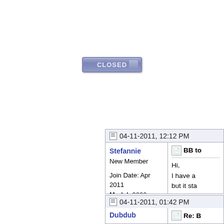[Figure (screenshot): A 'CLOSED' button with blue/purple gradient styling]
04-11-2011, 12:12 PM
Stefannie
New Member
Join Date: Apr 2011
Model: 9800
PIN: N/A
Carrier: Waitress
Posts: 2
Offline
BB to
Hi,
I have a
but it sta
me?
Posted via Bl
04-11-2011, 01:42 PM
Dubdub
Re: B